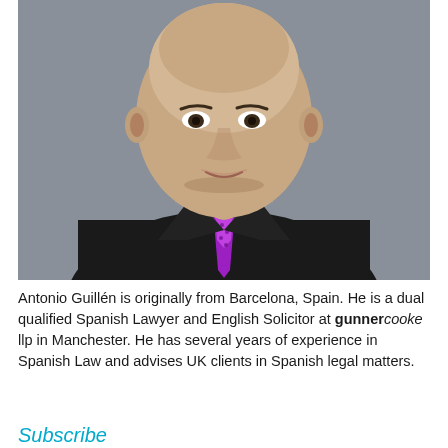[Figure (photo): Professional headshot of Antonio Guillén, a bald man wearing a dark suit and purple/magenta tie, smiling, against a grey background.]
Antonio Guillén is originally from Barcelona, Spain. He is a dual qualified Spanish Lawyer and English Solicitor at gunnercooke llp in Manchester. He has several years of experience in Spanish Law and advises UK clients in Spanish legal matters.